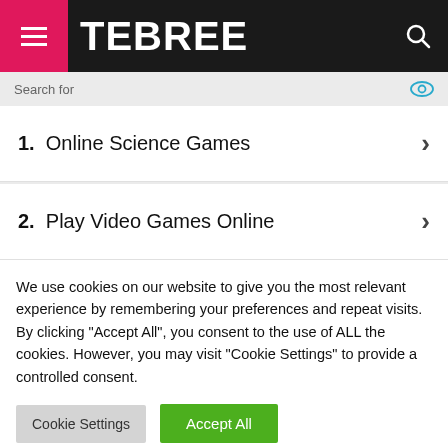TEBREE
1. Online Science Games
2. Play Video Games Online
We use cookies on our website to give you the most relevant experience by remembering your preferences and repeat visits. By clicking "Accept All", you consent to the use of ALL the cookies. However, you may visit "Cookie Settings" to provide a controlled consent.